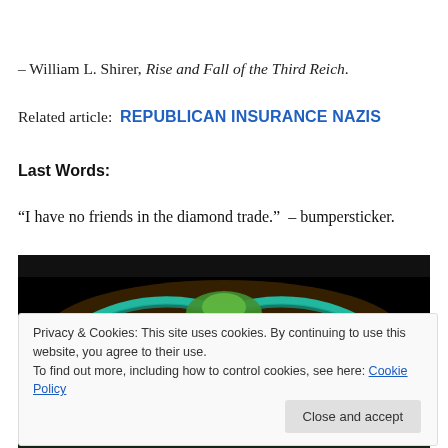– William L. Shirer, Rise and Fall of the Third Reich.
Related article:  REPUBLICAN INSURANCE NAZIS
Last Words:
“I have no friends in the diamond trade.”  – bumpersticker.
[Figure (photo): Psychedelic symmetrical fractal/kaleidoscope artwork with vivid colors including red, green, teal, yellow and purple on a black background.]
Privacy & Cookies: This site uses cookies. By continuing to use this website, you agree to their use.
To find out more, including how to control cookies, see here: Cookie Policy
Close and accept